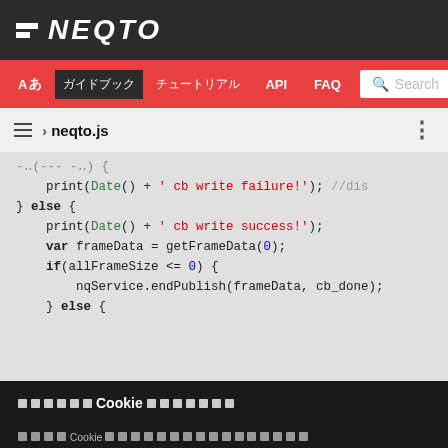NEQTO
[Figure (screenshot): NEQTO documentation site navigation bar with language selector, menu items (API, FAQ), and search box]
[Figure (screenshot): Code editor breadcrumb showing neqto.js file path with hamburger menu and three-dots menu]
[Figure (screenshot): JavaScript code block showing print(Date() + ' cb write failure!'); //dis
} else {
    print(Date() + ' cb write success!');
    var frameData = getFrameData(0);
    if(allFrameSize <= 0) {
        nqService.endPublish(frameData, cb_done);
    } else {]
このウェブサイトはCookieを使用します。
当サイトではCookieを使用しています。Cookieは、ウェブサイトが正常に機能するために必要なものと、お客様のエクスペリエンスを向上させるために使用されるものがあります。詳細については、プライバシーポリシーをご覧ください。